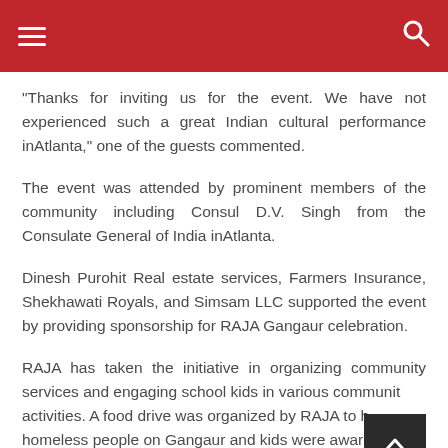☰  [hamburger menu]   [search icon]
“Thanks for inviting us for the event. We have not experienced such a great Indian cultural performance inAtlanta,” one of the guests commented.
The event was attended by prominent members of the community including Consul D.V. Singh from the Consulate General of India inAtlanta.
Dinesh Purohit Real estate services, Farmers Insurance, Shekhawati Royals, and Simsam LLC supported the event by providing sponsorship for RAJA Gangaur celebration.
RAJA has taken the initiative in organizing community services and engaging school kids in various community activities. A food drive was organized by RAJA to help homeless people on Gangaur and kids were awarded by certificate for their volunteering effort.